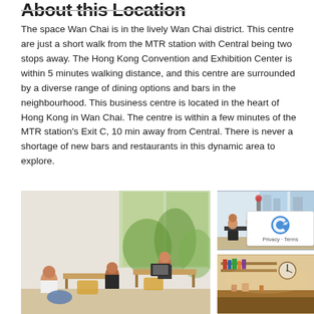About this Location
The space Wan Chai is in the lively Wan Chai district. This centre are just a short walk from the MTR station with Central being two stops away. The Hong Kong Convention and Exhibition Center is within 5 minutes walking distance, and this centre are surrounded by a diverse range of dining options and bars in the neighbourhood. This business centre is located in the heart of Hong Kong in Wan Chai. The centre is within a few minutes of the MTR station's Exit C, 10 min away from Central. There is never a shortage of new bars and restaurants in this dynamic area to explore.
[Figure (photo): Interior of a coworking space with multiple people working at desks, large windows with green plants visible outside, bright natural light]
[Figure (photo): Group of women having a meeting in an office space with large windows showing city buildings]
[Figure (photo): Interior of a coworking space or cafe with warm lighting, a clock on the wall, and wooden furnishings]